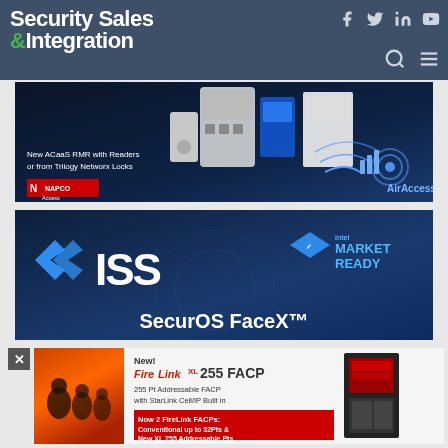[Figure (screenshot): Security Sales & Integration website header with dark blue-grey background, logo on left, social media icons (Facebook, Twitter, LinkedIn, YouTube) and search/menu icons on right]
[Figure (photo): NAPCO AirAccess advertisement: New ACaaS RMR with Readers or from Trilogy Networx Locks, showing access control hardware on dark blue background with NAPCO Access and AirAccess logos]
[Figure (photo): ISS SecurOS FaceX advertisement showing ISS logo with arrows, Intel Market Ready badge, and SecurOS FaceX branding on dark blue background]
[Figure (photo): FireLink XL 255 FACP advertisement: New! FireLink XL 255 FACP, 255 Pt Addressable FACP with StarLink Cell/IP Built in, Now 2 FireLink FACPs: Conventional up to 32Pts & New XL 255 Addressable Pts. Shows firefighters and product images]